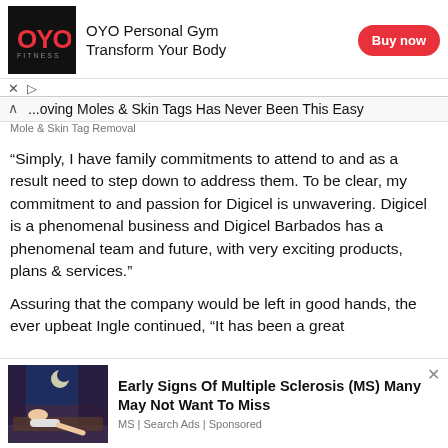[Figure (other): OYO Fitness advertisement banner with black square logo showing OYO in red letters, text 'OYO Personal Gym / Transform Your Body' and a red 'Buy now' button]
...oving Moles & Skin Tags Has Never Been This Easy
Mole & Skin Tag Removal
“Simply, I have family commitments to attend to and as a result need to step down to address them. To be clear, my commitment to and passion for Digicel is unwavering. Digicel is a phenomenal business and Digicel Barbados has a phenomenal team and future, with very exciting products, plans & services.”
Assuring that the company would be left in good hands, the ever upbeat Ingle continued, “It has been a great [honour working at] Digicel to work h...
[Figure (illustration): Advertisement illustration showing a person lying in bed at night with curtains, moonlit scene, promoting 'Early Signs Of Multiple Sclerosis (MS) Many May Not Want To Miss']
Early Signs Of Multiple Sclerosis (MS) Many May Not Want To Miss
MS | Search Ads | Sponsored